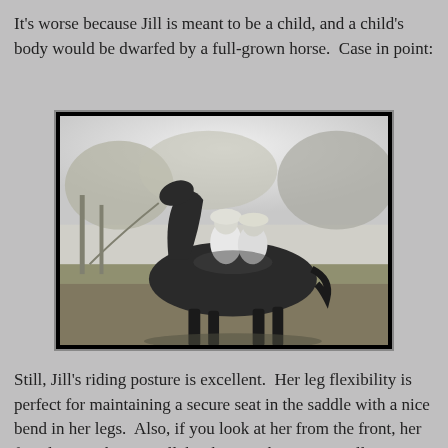It's worse because Jill is meant to be a child, and a child's body would be dwarfed by a full-grown horse.  Case in point:
[Figure (photo): Black and white photograph of two children in white dresses and bonnets sitting atop a full-grown dark horse, outdoors with trees in the background.]
Still, Jill's riding posture is excellent.  Her leg flexibility is perfect for maintaining a secure seat in the saddle with a nice bend in her legs.  Also, if you look at her from the front, her feet don't stick out at all, but hang right next to Galloway's belly.  I wish Jill's arms had wire armature so that she could hold the reins without the help of a rubber band.